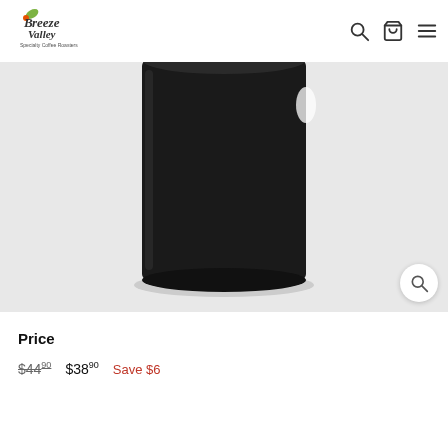Breeze Valley Specialty Coffee Roasters
[Figure (photo): Close-up product photo of a black ceramic coffee mug on a white/light gray background. The mug is shown from a slightly elevated angle showing the cylindrical body. There is a white design element visible on the upper right side of the mug.]
Price
$44.90  $38.90  Save $6